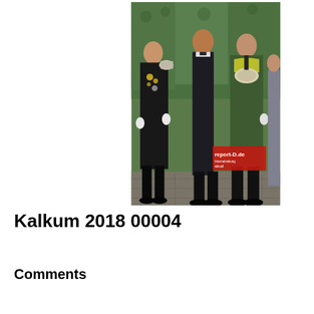[Figure (photo): Photograph of several men in formal attire standing outdoors. One man on the left wears a black uniform with white gloves, medallions, and a white ceremonial hat on his shoulder. A man in the center wears a black suit. A man on the right wears a green jacket with a large ornate silver chain/medallion. Another man and a woman are partially visible on the far right. The background shows green ivy-covered walls. A red watermark reads 'report-D.de Internetzeitung aktuell' in the bottom right corner.]
Kalkum 2018 00004
Comments